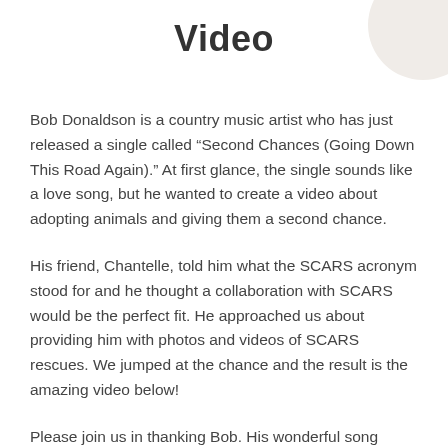Video
Bob Donaldson is a country music artist who has just released a single called “Second Chances (Going Down This Road Again).” At first glance, the single sounds like a love song, but he wanted to create a video about adopting animals and giving them a second chance.
His friend, Chantelle, told him what the SCARS acronym stood for and he thought a collaboration with SCARS would be the perfect fit. He approached us about providing him with photos and videos of SCARS rescues. We jumped at the chance and the result is the amazing video below!
Please join us in thanking Bob. His wonderful song